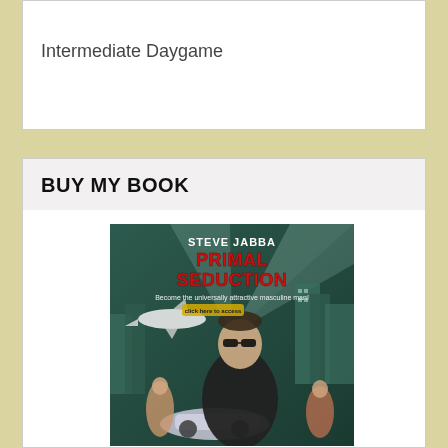Intermediate Daygame
BUY MY BOOK
[Figure (illustration): Book cover for 'Primal Seduction' by Steve Jabba. Shows a man in a black leather jacket and sunglasses in a city setting with women, a car, and an airplane in the background. Subtitle reads 'Become the universally attractive masculine man!']